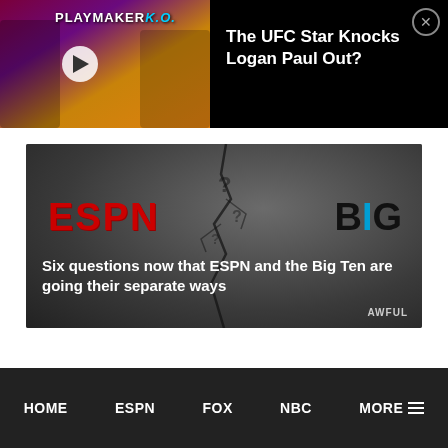[Figure (screenshot): Video thumbnail showing Playmaker K.O. title with play button, on dark background]
The UFC Star Knocks Logan Paul Out?
[Figure (screenshot): ESPN vs Big Ten article card with cracked stone background showing ESPN logo in red and BIG TEN logo in black and blue]
Six questions now that ESPN and the Big Ten are going their separate ways
AWFUL
HOME   ESPN   FOX   NBC   MORE